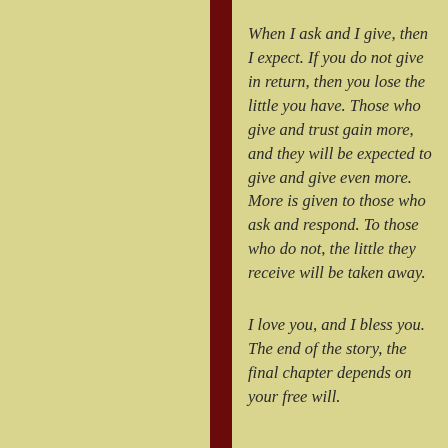When I ask and I give, then I expect.  If you do not give in return, then you lose the little you have.  Those who give and trust gain more, and they will be expected to give and give even more.  More is given to those who ask and respond.  To those who do not, the little they receive will be taken away.
I love you, and I bless you.  The end of the story, the final chapter depends on your free will.